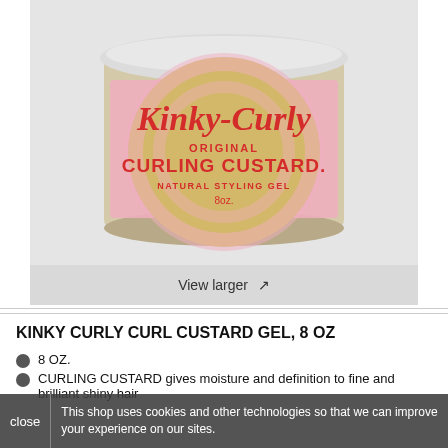[Figure (photo): A clear jar of Kinky-Curly Original Curling Custard Natural Styling Gel, 8 oz, with a pink and gold label, viewed from slightly above.]
View larger ↗
KINKY CURLY CURL CUSTARD GEL, 8 OZ
8 OZ.
CURLING CUSTARD gives moisture and definition to fine and brilliant shiny hair
This shop uses cookies and other technologies so that we can improve your experience on our sites.
close